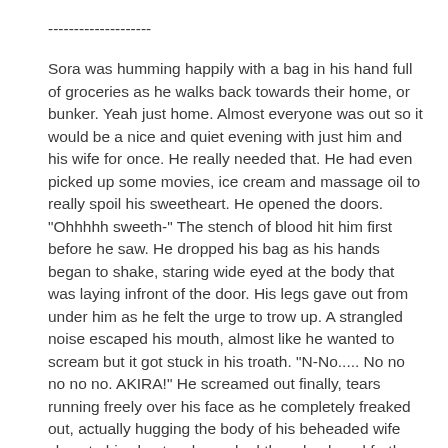--------------------
Sora was humming happily with a bag in his hand full of groceries as he walks back towards their home, or bunker. Yeah just home. Almost everyone was out so it would be a nice and quiet evening with just him and his wife for once. He really needed that. He had even picked up some movies, ice cream and massage oil to really spoil his sweetheart. He opened the doors. "Ohhhhh sweeth-" The stench of blood hit him first before he saw. He dropped his bag as his hands began to shake, staring wide eyed at the body that was laying infront of the door. His legs gave out from under him as he felt the urge to trow up. A strangled noise escaped his mouth, almost like he wanted to scream but it got stuck in his troath. "N-No..... No no no no no. AKIRA!" He screamed out finally, tears running freely over his face as he completely freaked out, actually hugging the body of his beheaded wife close to his chest as he rocked them back and forth. "Akira Akira